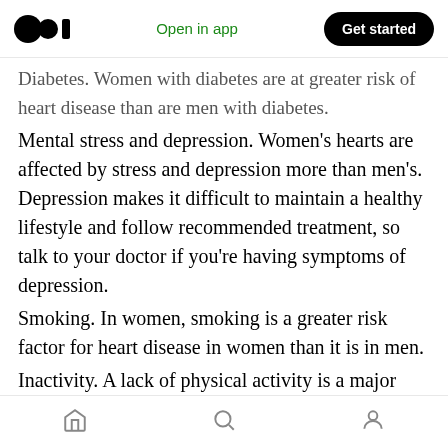Medium logo | Open in app | Get started
Diabetes. Women with diabetes are at greater risk of heart disease than are men with diabetes. Mental stress and depression. Women's hearts are affected by stress and depression more than men's. Depression makes it difficult to maintain a healthy lifestyle and follow recommended treatment, so talk to your doctor if you're having symptoms of depression.
Smoking. In women, smoking is a greater risk factor for heart disease in women than it is in men.
Inactivity. A lack of physical activity is a major risk factor for heart disease, and some research
Home | Search | Profile